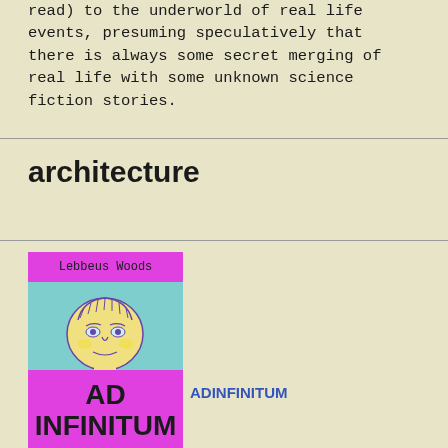read) to the underworld of real life events, presuming speculatively that there is always some secret merging of real life with some unknown science fiction stories.
architecture
[Figure (illustration): Book cover for 'Ad Infinitum' by Lebbeus Woods. A magenta/pink banner at top reads 'Lebbeus Woods', below is a teal background with a drawn portrait of a person's face, and a large magenta bottom panel with bold black text 'AD INFINITUM'.]
ADINFINITUM